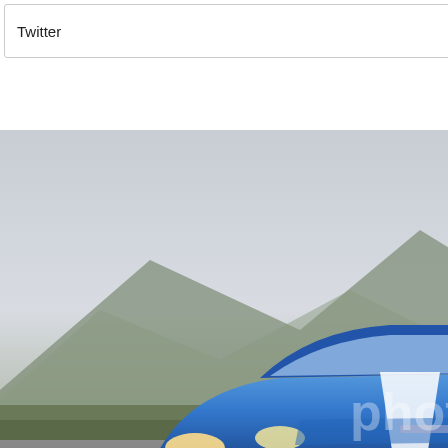Twitter
You may not edit your posts
[Figure (photo): Two Ford Mustang cars on a road - a blue one in the foreground and a red one partially visible on the right, with mountains in the background. A Photobucket watermark is visible on the image.]
-- Default Style
Co
All times are GMT -4. The time now is 09:11 PM.
Powered by vBulletin® Version 4.2.1 Copyright © 2022 vBulletin Solutions, Inc. All rights reserved.
© MUSTANG is a registered trademark of the Ford Motor Company. Neither Ford Motor Company shall bear any responsibility for SmokinStangs.com content, comments, or advertising. FORD© and is not affiliated with, sponsored or supported by FORD©. Copyright/trademark intended, or implied. All Rights Reserved